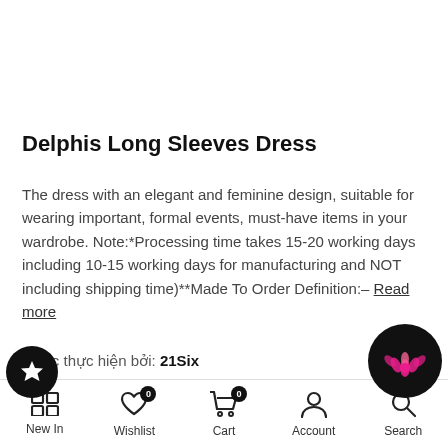Delphis Long Sleeves Dress
The dress with an elegant and feminine design, suitable for wearing important, formal events, must-have items in your wardrobe. Note:*Processing time takes 15-20 working days including 10-15 working days for manufacturing and NOT including shipping time)**Made To Order Definition:– Read more
Được thực hiện bởi: 21Six
$115.99
New In  Wishlist 0  Cart 0  Account  Search